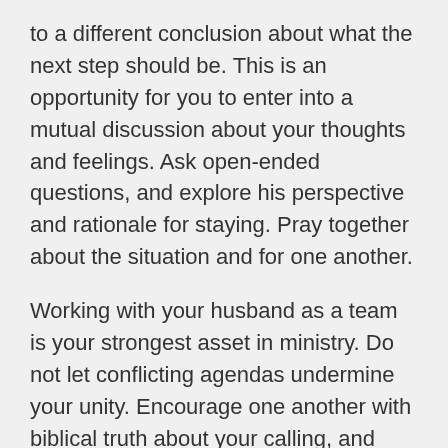to a different conclusion about what the next step should be. This is an opportunity for you to enter into a mutual discussion about your thoughts and feelings. Ask open-ended questions, and explore his perspective and rationale for staying. Pray together about the situation and for one another.
Working with your husband as a team is your strongest asset in ministry. Do not let conflicting agendas undermine your unity. Encourage one another with biblical truth about your calling, and continue to work together resourcing one another's strengths and input. Together, God will guide and direct your steps.
Lastly, do not underestimate the honor in showing up and offering your best, day after